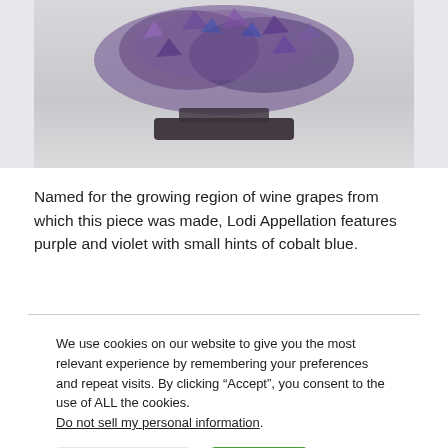[Figure (photo): Partial view of a crystal/gemstone tree art piece with purple, violet and cobalt blue stones on a dark base, shown against a light gray background]
Named for the growing region of wine grapes from which this piece was made, Lodi Appellation features purple and violet with small hints of cobalt blue.
We use cookies on our website to give you the most relevant experience by remembering your preferences and repeat visits. By clicking “Accept”, you consent to the use of ALL the cookies.
Do not sell my personal information.